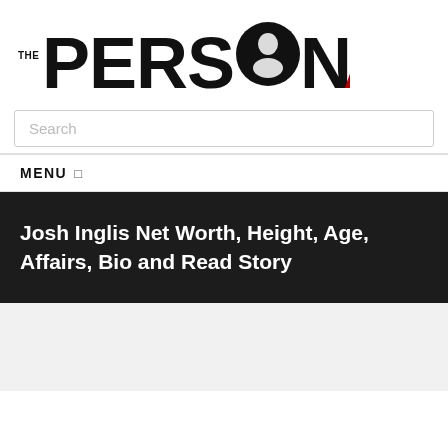[Figure (logo): ThePersonAge website logo with black bold text THE PERSON and a silhouette face inside the O, followed by AGE in dark red]
[Figure (screenshot): Search input box with placeholder text 'Search']
MENU
Josh Inglis Net Worth, Height, Age, Affairs, Bio and Read Story